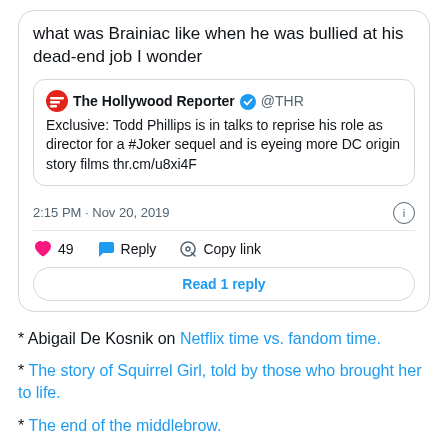[Figure (screenshot): Screenshot of a tweet. The tweet text reads: 'what was Brainiac like when he was bullied at his dead-end job I wonder'. It quotes a tweet from The Hollywood Reporter (@THR): 'Exclusive: Todd Phillips is in talks to reprise his role as director for a #Joker sequel and is eyeing more DC origin story films thr.cm/u8xi4F'. Timestamp: 2:15 PM · Nov 20, 2019. Actions: 49 likes, Reply, Copy link. Button: Read 1 reply.]
* Abigail De Kosnik on Netflix time vs. fandom time.
* The story of Squirrel Girl, told by those who brought her to life.
* The end of the middlebrow.